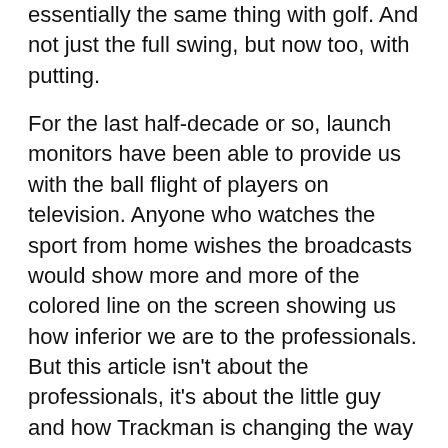essentially the same thing with golf. And not just the full swing, but now too, with putting.
For the last half-decade or so, launch monitors have been able to provide us with the ball flight of players on television. Anyone who watches the sport from home wishes the broadcasts would show more and more of the colored line on the screen showing us how inferior we are to the professionals. But this article isn't about the professionals, it's about the little guy and how Trackman is changing the way we can enjoy the game.
Enter Trackman RANGE.
Along with Bergdahl (whom we'll return to in a moment), I spoke with Matt Frelich, the VP of Sales and Marketing for Trackman. When I started this piece, I had a hypothesis in mind that the future of golf was personal launch monitors. That eventually we would get to a point where